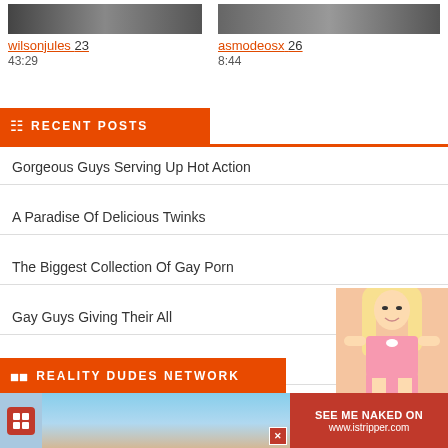wilsonjules 23
43:29
asmodeosx 26
8:44
RECENT POSTS
Gorgeous Guys Serving Up Hot Action
A Paradise Of Delicious Twinks
The Biggest Collection Of Gay Porn
Gay Guys Giving Their All
Twinks Take The Most Cock
REALITY DUDES NETWORK
[Figure (photo): Blonde woman in pink lingerie advertisement overlay]
[Figure (screenshot): Bottom advertisement banner with istripper.com logo and text SEE ME NAKED ON www.istripper.com with close button]